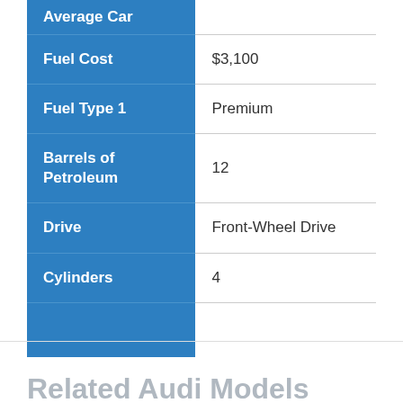| Average Car |  |
| --- | --- |
| Fuel Cost | $3,100 |
| Fuel Type 1 | Premium |
| Barrels of Petroleum | 12 |
| Drive | Front-Wheel Drive |
| Cylinders | 4 |
Related Audi Models